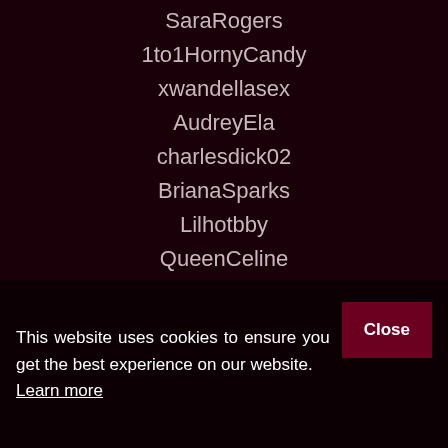SaraRogers
1to1HornyCandy
xwandellasex
AudreyEla
charlesdick02
BrianaSparks
Lilhotbby
QueenCeline
IrinaCara
Goti
MashaBella
This website uses cookies to ensure you get the best experience on our website. Learn more
AshleParks